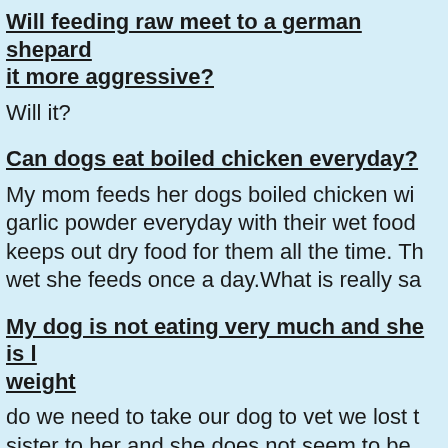Will feeding raw meet to a german shepard it more aggressive?
Will it?
Can dogs eat boiled chicken everyday?
My mom feeds her dogs boiled chicken wi garlic powder everyday with their wet food keeps out dry food for them all the time. Th wet she feeds once a day.What is really sa
My dog is not eating very much and she is weight
do we need to take our dog to vet we lost sister to her and she does not seem to be eating hardly anything we lost the sister to shadow about 2 months ago and shadow c